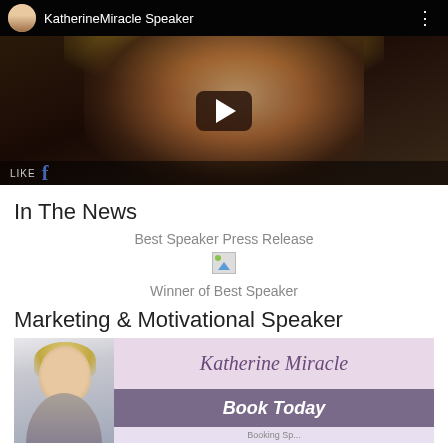[Figure (screenshot): YouTube video player showing KatherineMiracle Speaker channel with a woman with blonde hair against a dark background, play button overlay, and LIKE/Facebook branding at bottom]
In The News
Best Speaker Press Release
[Figure (photo): Broken/missing image thumbnail]
Winner of Best Speaker
Marketing & Motivational Speaker
[Figure (photo): Katherine Miracle speaker promotional banner with photo of blonde woman, pink background with cursive 'Katherine Miracle' text, purple 'Book Today' button]